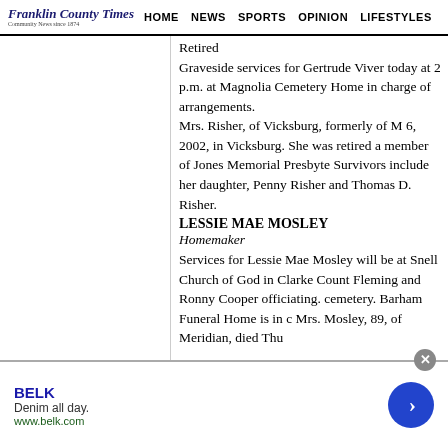Franklin County Times | HOME | NEWS | SPORTS | OPINION | LIFESTYLES
Retired
Graveside services for Gertrude Viver today at 2 p.m. at Magnolia Cemetery Home in charge of arrangements.
Mrs. Risher, of Vicksburg, formerly of M 6, 2002, in Vicksburg. She was retired a member of Jones Memorial Presbyte Survivors include her daughter, Penny Risher and Thomas D. Risher.
LESSIE MAE MOSLEY
Homemaker
Services for Lessie Mae Mosley will be at Snell Church of God in Clarke Count Fleming and Ronny Cooper officiating. cemetery. Barham Funeral Home is in c Mrs. Mosley, 89, of Meridian, died Thu
BELK
Denim all day.
www.belk.com